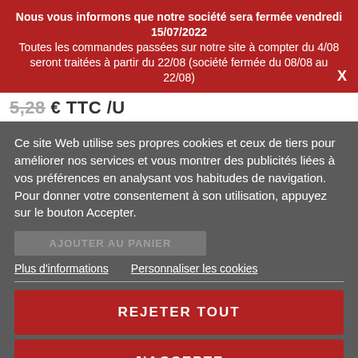Nous vous informons que notre société sera fermée vendredi 15/07/2022
Toutes les commandes passées sur notre site à compter du 4/08 seront traitées à partir du 22/08 (société fermée du 08/08 au 22/08)
5,28 € TTC /U
Ce site Web utilise ses propres cookies et ceux de tiers pour améliorer nos services et vous montrer des publicités liées à vos préférences en analysant vos habitudes de navigation. Pour donner votre consentement à son utilisation, appuyez sur le bouton Accepter.
Plus d'informations   Personnaliser les cookies
REJETER TOUT
J'ACCEPTE